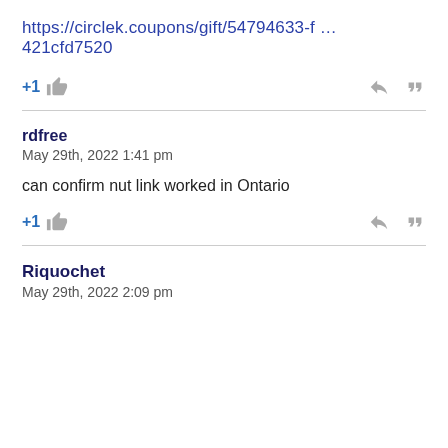https://circlek.coupons/gift/54794633-f … 421cfd7520
+1
rdfree
May 29th, 2022 1:41 pm
can confirm nut link worked in Ontario
+1
Riquochet
May 29th, 2022 2:09 pm